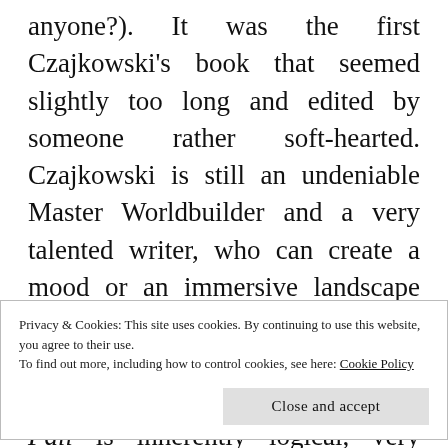anyone?). It was the first Czajkowski's book that seemed slightly too long and edited by someone rather soft-hearted. Czajkowski is still an undeniable Master Worldbuilder and a very talented writer, who can create a mood or an immersive landscape with few chosen words, and he definitely doesn't disappoint this time – the world of Echoes of the Fall is inherently logical, very detailed and realistic to the point of being grim and gritty. It also
Privacy & Cookies: This site uses cookies. By continuing to use this website, you agree to their use.
To find out more, including how to control cookies, see here: Cookie Policy
conquest, told from the perspective of the